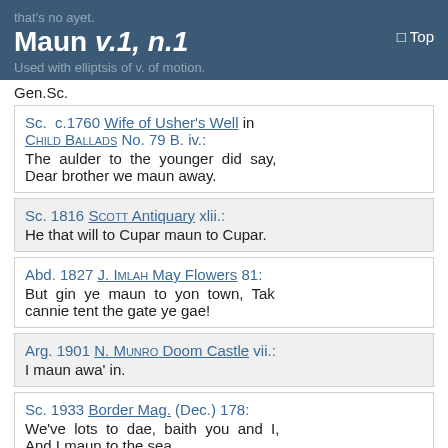Maun v.1, n.1 — Top
Gen.Sc.
Sc. c.1760 Wife of Usher's Well in Child Ballads No. 79 B. iv.: The aulder to the younger did say, Dear brother we maun away.
Sc. 1816 Scott Antiquary xlii.: He that will to Cupar maun to Cupar.
Abd. 1827 J. Imlah May Flowers 81: But gin ye maun to yon town, Tak cannie tent the gate ye gae!
Arg. 1901 N. Munro Doom Castle vii.: I maun awa' in.
Sc. 1933 Border Mag. (Dec.) 178: We've lots to dae, baith you and I, And I maun to the sea.
3. Combs.: (1) maun-be, n., an unavoidable necessity (Cld. 1825 Jam.; Mry., Ags. 1962); (2) maun-dae,